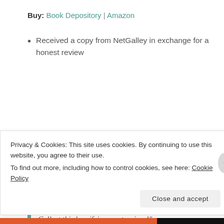Buy: Book Depository | Amazon
Received a copy from NetGalley in exchange for a honest review
Manga publishing pioneer TOKYOPOP brings you a special edition gorgeous hardcover manga based on the classic Halloween masterpiece Disney Tim Burton s Nightmare Before Christmas. A must-have for manga fans, Tim Burton fans, and Halloween fans alike!! Collect this horrifying masterpiece!"
Privacy & Cookies: This site uses cookies. By continuing to use this website, you agree to their use.
To find out more, including how to control cookies, see here: Cookie Policy